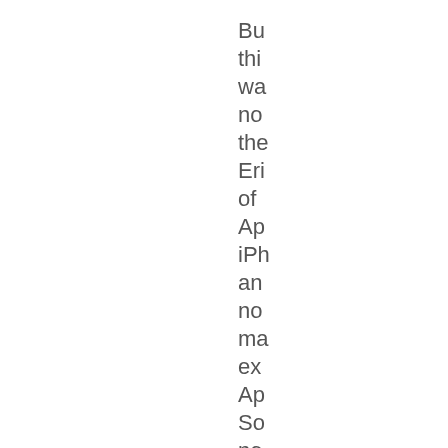Bu
thi
wa
no
the
Eri
of
Ap
iPh
an
no
ma
ex
Ap
So
no
ma